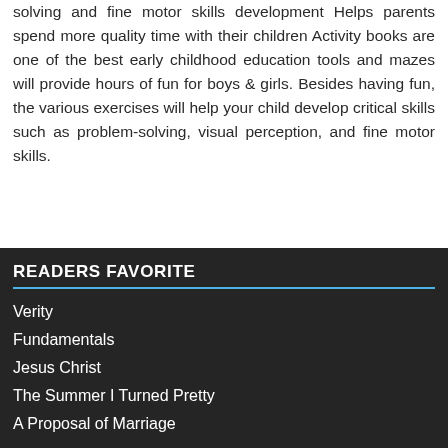solving and fine motor skills development Helps parents spend more quality time with their children Activity books are one of the best early childhood education tools and mazes will provide hours of fun for boys & girls. Besides having fun, the various exercises will help your child develop critical skills such as problem-solving, visual perception, and fine motor skills.
READERS FAVORITE
Verity
Fundamentals
Jesus Christ
The Summer I Turned Pretty
A Proposal of Marriage